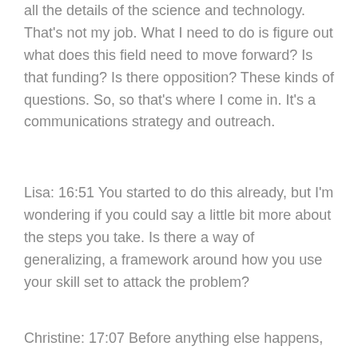all the details of the science and technology. That's not my job. What I need to do is figure out what does this field need to move forward? Is that funding? Is there opposition? These kinds of questions. So, so that's where I come in. It's a communications strategy and outreach.
Lisa: 16:51 You started to do this already, but I'm wondering if you could say a little bit more about the steps you take. Is there a way of generalizing, a framework around how you use your skill set to attack the problem?
Christine: 17:07 Before anything else happens,